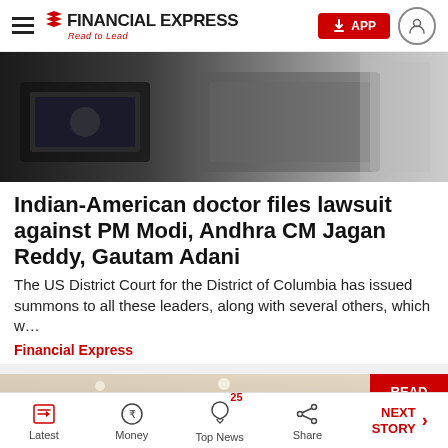Financial Express — Read to Lead
[Figure (photo): Blurred photo showing what appears to be a laptop/computer screen and a person in a business setting]
Indian-American doctor files lawsuit against PM Modi, Andhra CM Jagan Reddy, Gautam Adani
The US District Court for the District of Columbia has issued summons to all these leaders, along with several others, which w…
Financial Express
[Figure (photo): Interior of a modern building/lobby with wooden paneling and ceiling lights. Has a red 'READ IN APP' badge in top right corner.]
Latest | Money | Top News 25 | Share | NEXT STORY →